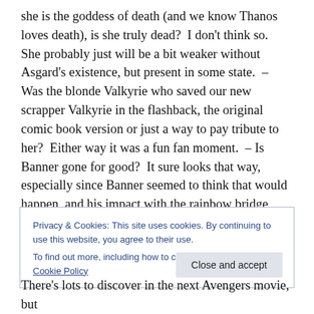she is the goddess of death (and we know Thanos loves death), is she truly dead?  I don't think so.  She probably just will be a bit weaker without Asgard's existence, but present in some state.  – Was the blonde Valkyrie who saved our new scrapper Valkyrie in the flashback, the original comic book version or just a way to pay tribute to her?  Either way it was a fun fan moment.  – Is Banner gone for good?  It sure looks that way, especially since Banner seemed to think that would happen, and his impact with the rainbow bridge would surely indicate he is dead.  – Also, without his mighty hammer, will Thor end up
Privacy & Cookies: This site uses cookies. By continuing to use this website, you agree to their use.
To find out more, including how to control cookies, see here: Cookie Policy
Close and accept
There's lots to discover in the next Avengers movie, but